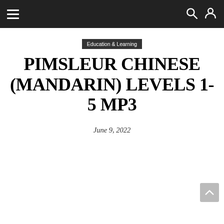Navigation bar with hamburger menu, search icon, and user icon
Education & Learning
PIMSLEUR CHINESE (MANDARIN) LEVELS 1-5 MP3
June 9, 2022